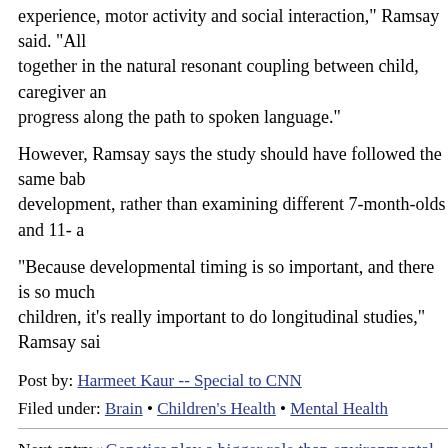experience, motor activity and social interaction," Ramsay said. "All together in the natural resonant coupling between child, caregiver an progress along the path to spoken language."
However, Ramsay says the study should have followed the same bab development, rather than examining different 7-month-olds and 11- a
"Because developmental timing is so important, and there is so much children, it's really important to do longitudinal studies," Ramsay sai
Post by: Harmeet Kaur -- Special to CNN
Filed under: Brain • Children's Health • Mental Health
Next entry »Genetics play a bigger role than environmental causes fo
« Previous entryChild medication measurements confuse parents
soundoff (1,598 Responses)
1. AhmdEncox
generic cialis with dapoxetine order cialis no prescription ciali http://cialmenshoprx.com/ – buy cialis online overnight '
January 24, 2021 at 08:58 | Report abuse | Reply